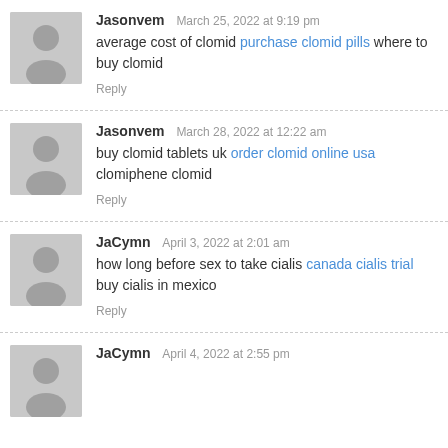Jasonvem — March 25, 2022 at 9:19 pm
average cost of clomid purchase clomid pills where to buy clomid
Reply
Jasonvem — March 28, 2022 at 12:22 am
buy clomid tablets uk order clomid online usa clomiphene clomid
Reply
JaCymn — April 3, 2022 at 2:01 am
how long before sex to take cialis canada cialis trial buy cialis in mexico
Reply
JaCymn — April 4, 2022 at 2:55 pm